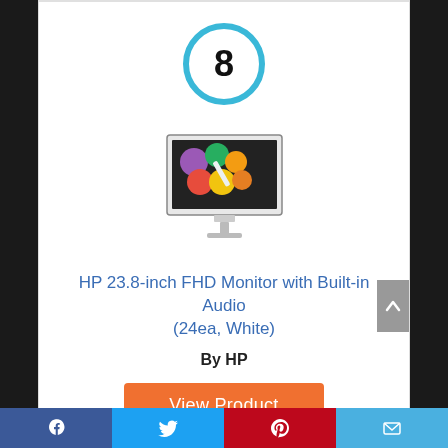[Figure (other): Rank badge — circle with number 8 inside, cyan/light-blue border]
[Figure (photo): HP 23.8-inch FHD Monitor product image showing colorful paint circles on screen]
HP 23.8-inch FHD Monitor with Built-in Audio (24ea, White)
By HP
View Product
7.2
Facebook | Twitter | Pinterest | Email